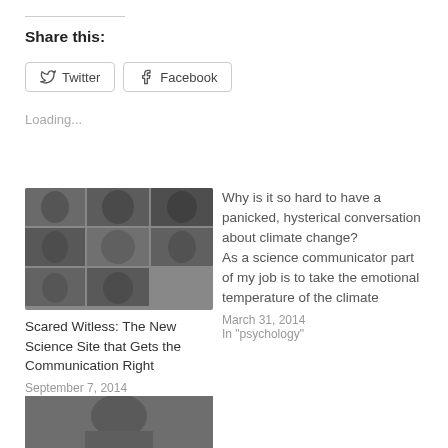Share this:
Twitter
Facebook
Loading...
[Figure (photo): Grid of black and white portrait photos, 3x2 plus 2 partial bottom row]
Scared Witless: The New Science Site that Gets the Communication Right
September 7, 2014
In "Mental Illness"
Why is it so hard to have a panicked, hysterical conversation about climate change?
As a science communicator part of my job is to take the emotional temperature of the climate
March 31, 2014
In "psychology"
[Figure (photo): Black and white photo partially visible at bottom of page]